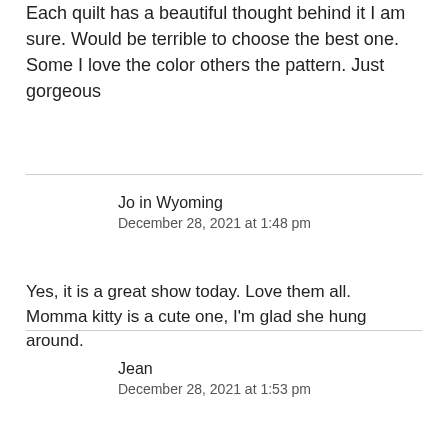Each quilt has a beautiful thought behind it I am sure. Would be terrible to choose the best one. Some I love the color others the pattern. Just gorgeous
Jo in Wyoming
December 28, 2021 at 1:48 pm
Yes, it is a great show today. Love them all.
Momma kitty is a cute one, I'm glad she hung around.
Jean
December 28, 2021 at 1:53 pm